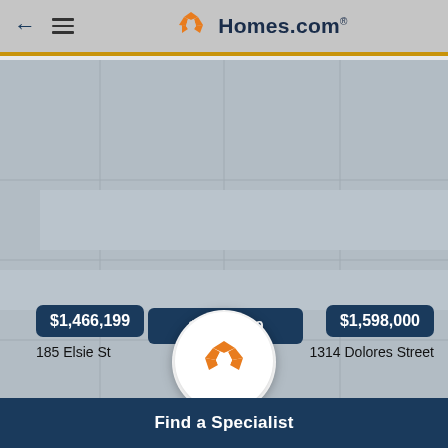← ≡ Homes.com
[Figure (screenshot): Map background showing a gray map area with two property price markers: $1,466,199 at 185 Elsie St and $1,598,000 at 1314 Dolores Street, with the Homes.com logo circle in the center]
| Price Per Sq. Ft. not available | $1,365/Sq. Ft. |
| 2 Bedrooms | 3 Bedrooms |
| 1 Bathrooms | 1 Bathrooms |
Find a Specialist